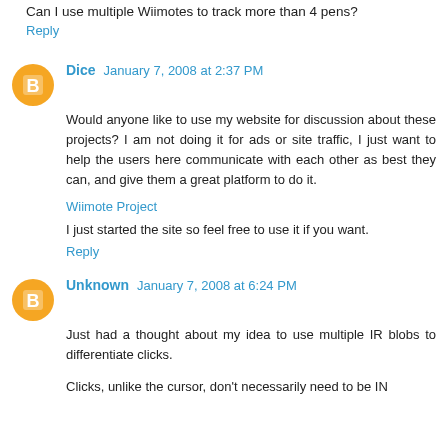Can I use multiple Wiimotes to track more than 4 pens?
Reply
Dice  January 7, 2008 at 2:37 PM
Would anyone like to use my website for discussion about these projects? I am not doing it for ads or site traffic, I just want to help the users here communicate with each other as best they can, and give them a great platform to do it.
Wiimote Project
I just started the site so feel free to use it if you want.
Reply
Unknown  January 7, 2008 at 6:24 PM
Just had a thought about my idea to use multiple IR blobs to differentiate clicks.
Clicks, unlike the cursor, don't necessarily need to be IN